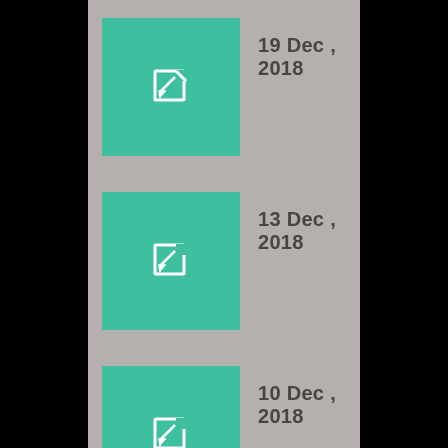19 Dec , 2018
Rohrbacher a winner!
13 Dec , 2018
Swordsman too sharp!
10 Dec , 2018
Great for Godolphin!
07 Dec , 2018
Weekend update!
30 Nov , 2018
The bandwagon rolls on...